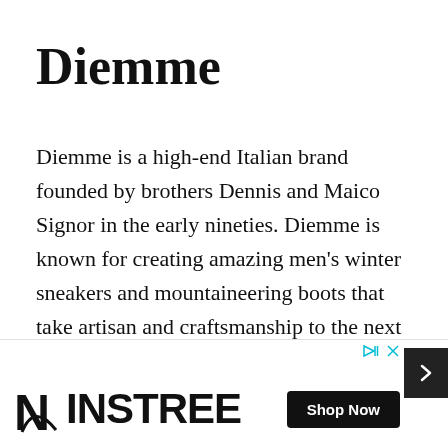Diemme
Diemme is a high-end Italian brand founded by brothers Dennis and Maico Signor in the early nineties. Diemme is known for creating amazing men's winter sneakers and mountaineering boots that take artisan and craftsmanship to the next level.
These shoes are exceptionally supportive, as they feature rubber outsoles, providing outstanding traction with every step you take. Their mountaineer boots [partially obscured] promi[sed]... their
[Figure (other): Ninstree advertisement banner with logo and Shop Now button]